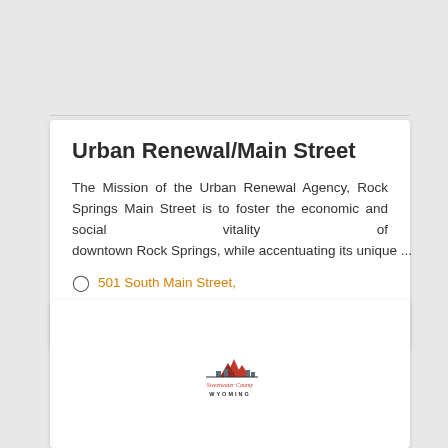Urban Renewal/Main Street
The Mission of the Urban Renewal Agency, Rock Springs Main Street is to foster the economic and social vitality of downtown Rock Springs, while accentuating its unique ...
501 South Main Street, Rock Springs, WY 82901
(307) 352-1434
[Figure (logo): Sweetwater County Wyoming logo with mountain/building silhouette and text 'Sweetwater County Wyoming']